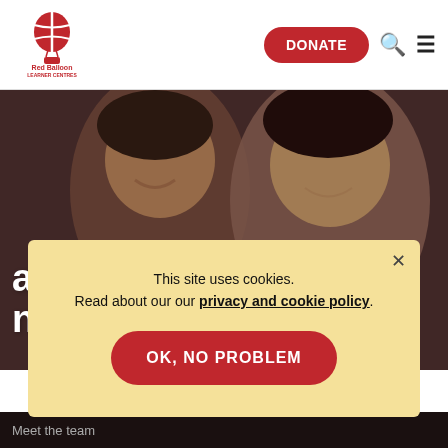[Figure (logo): Red Balloon Learner Centres logo — red hot air balloon with red and white stripes, text 'Red Balloon LEARNER CENTRES For the recovery of bullied children']
DONATE
about our latest news and events
[Figure (photo): Close-up of two smiling people, warm brown tones, background of a news and events hero section]
This site uses cookies.
Read about our our privacy and cookie policy.
OK, NO PROBLEM
Meet the team